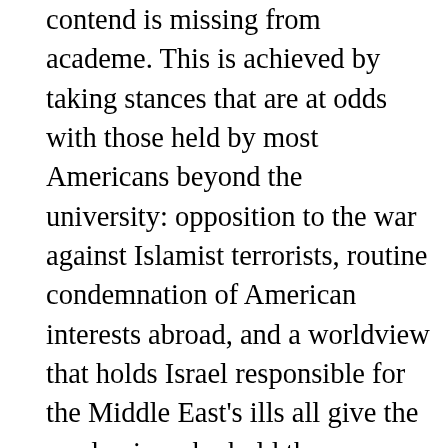contend is missing from academe. This is achieved by taking stances that are at odds with those held by most Americans beyond the university: opposition to the war against Islamist terrorists, routine condemnation of American interests abroad, and a worldview that holds Israel responsible for the Middle East's ills all give the academics who hold them a patina of rebelliousness, and hence of achieving the goal of intellectual diversity. That such poses ignore the stultifying orthodoxy within university departments is an inconvenient fact conveniently ignored by professors themselves. It's also why the denizens of Whitman will almost certainly fill the advertised position with someone